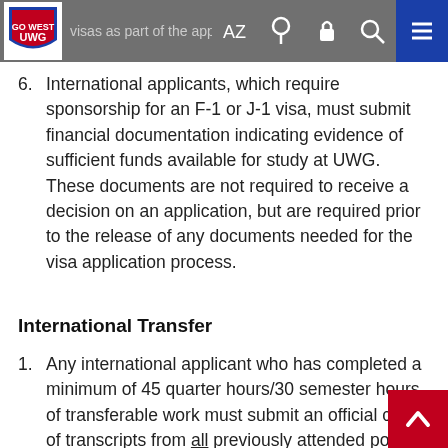visas as part of the application process.
6. International applicants, which require sponsorship for an F-1 or J-1 visa, must submit financial documentation indicating evidence of sufficient funds available for study at UWG. These documents are not required to receive a decision on an application, but are required prior to the release of any documents needed for the visa application process.
International Transfer
1. Any international applicant who has completed a minimum of 45 quarter hours/30 semester hours of transferable work must submit an official copy of transcripts from all previously attended post-secondary institutions. If this institution is based internationally, and does not currently hold United States accreditation, the student must obtain a